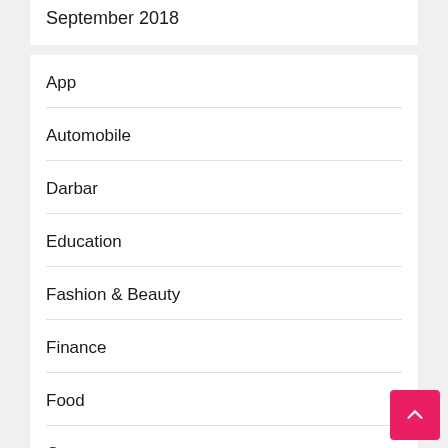September 2018
App
Automobile
Darbar
Education
Fashion & Beauty
Finance
Food
Game